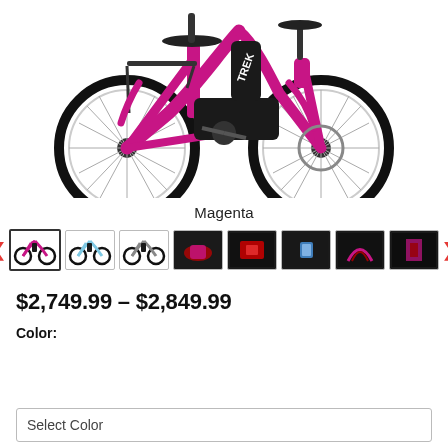[Figure (photo): A magenta/pink Trek electric city bike with rear rack, fenders, disc brakes, and Bosch mid-drive motor, shown in side profile on white background.]
Magenta
[Figure (photo): Thumbnail gallery row showing 8 product images: 3 full-bike shots in different colors (magenta, light blue, grey), and 5 close-up detail shots of bike components on dark backgrounds.]
$2,749.99 – $2,849.99
Color:
Select Color